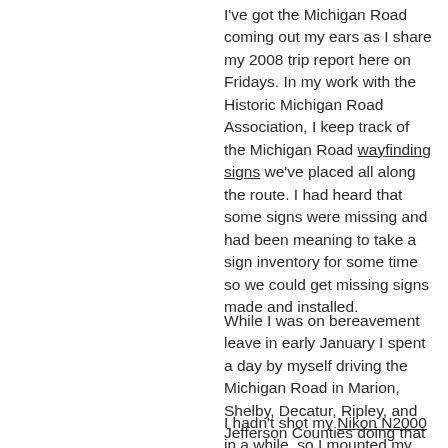I've got the Michigan Road coming out my ears as I share my 2008 trip report here on Fridays. In my work with the Historic Michigan Road Association, I keep track of the Michigan Road wayfinding signs we've placed all along the route. I had heard that some signs were missing and had been meaning to take a sign inventory for some time so we could get missing signs made and installed.
While I was on bereavement leave in early January I spent a day by myself driving the Michigan Road in Marion, Shelby, Decatur, Ripley, and Jefferson Counties doing that sign inventory. It is always a tonic for me to drive an old road, listening to my music, stopping to make photographs when the mood strikes.
I hadn't shot my Nikon N2000 in a while, so I mounted my 35-70mm f/3.3-4.5 Zoom